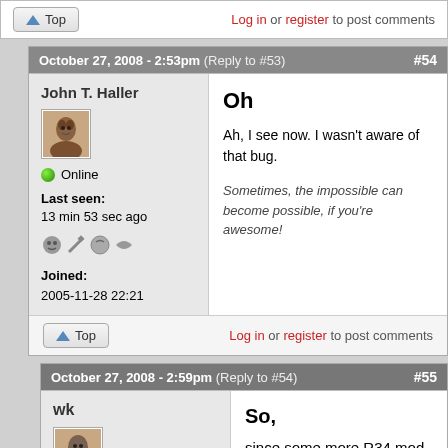Top | Log in or register to post comments
October 27, 2008 - 2:53pm (Reply to #53) #54
John T. Haller
Online
Last seen: 13 min 53 sec ago
Joined: 2005-11-28 22:21
Oh
Ah, I see now. I wasn't aware of that bug.
Sometimes, the impossible can become possible, if you're awesome!
Top | Log in or register to post comments
October 27, 2008 - 2:59pm (Reply to #54) #55
wk
Offline
So,
since some more R34 mod users have